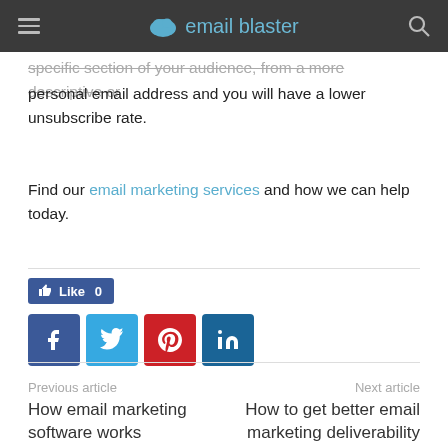email blaster
specific section of your audience, from a more descriptive or personal email address and you will have a lower unsubscribe rate.
Find our email marketing services and how we can help today.
[Figure (infographic): Facebook Like button showing 'Like 0' and social sharing buttons for Facebook, Twitter, Pinterest, and LinkedIn]
Previous article
How email marketing software works
Next article
How to get better email marketing deliverability